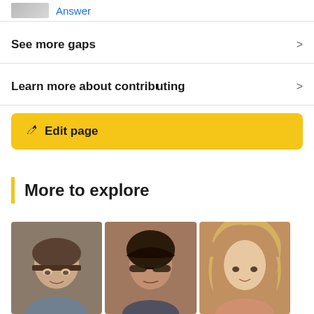[Figure (screenshot): Thumbnail image with Answer link in blue]
See more gaps
Learn more about contributing
Edit page
More to explore
[Figure (photo): Three portrait photos of people shown in a row]